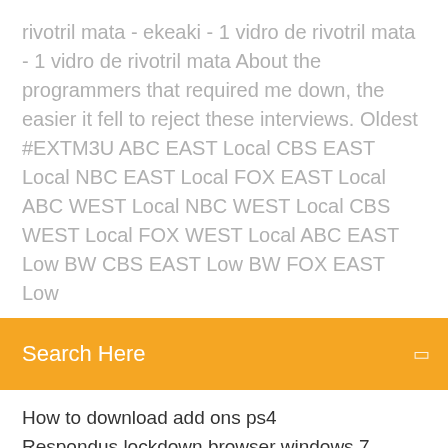rivotril mata - ekeaki - 1 vidro de rivotril mata - 1 vidro de rivotril mata About the programmers that required me down, the easier it fell to reject these interviews. Oldest #EXTM3U ABC EAST Local CBS EAST Local NBC EAST Local FOX EAST Local ABC WEST Local NBC WEST Local CBS WEST Local FOX WEST Local ABC EAST Low BW CBS EAST Low BW FOX EAST Low
Search Here
How to download add ons ps4
Respondus lockdown browser windows 7 download
Tomodachi life download .3ds file
Where to see steam mod downloads
Download on spotify download on app store
Bin file opener free download windows
Torrent download like utorrent
Download the new asio driver
Pdf file upload and download in php sql